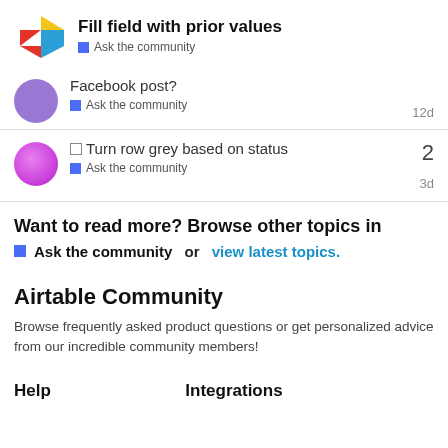Fill field with prior values — Ask the community
Facebook post?
Ask the community  12d
Turn row grey based on status — Ask the community  2  3d
Want to read more? Browse other topics in Ask the community or view latest topics.
Airtable Community
Browse frequently asked product questions or get personalized advice from our incredible community members!
Help
Integrations